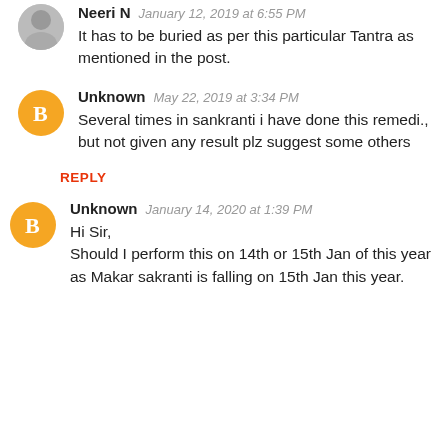Neeri N   January 12, 2019 at 6:55 PM
It has to be buried as per this particular Tantra as mentioned in the post.
Unknown   May 22, 2019 at 3:34 PM
Several times in sankranti i have done this remedi., but not given any result plz suggest some others
REPLY
Unknown   January 14, 2020 at 1:39 PM
Hi Sir,
Should I perform this on 14th or 15th Jan of this year as Makar sakranti is falling on 15th Jan this year.